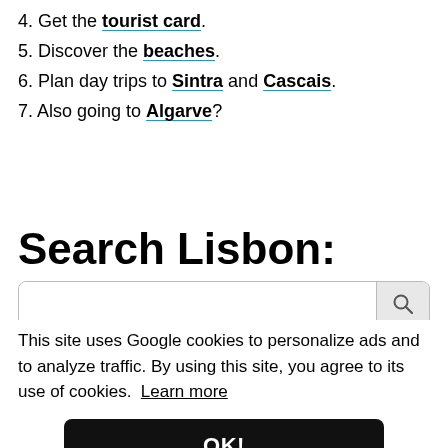4. Get the tourist card.
5. Discover the beaches.
6. Plan day trips to Sintra and Cascais.
7. Also going to Algarve?
Search Lisbon:
This site uses Google cookies to personalize ads and to analyze traffic. By using this site, you agree to its use of cookies. Learn more
OK!